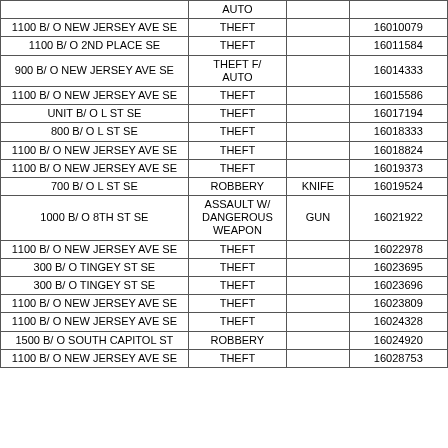| Address | Offense | Method | Report No. |
| --- | --- | --- | --- |
|  | AUTO |  |  |
| 1100 B/ O NEW JERSEY AVE SE | THEFT |  | 16010079 |
| 1100 B/ O 2ND PLACE SE | THEFT |  | 16011584 |
| 900 B/ O NEW JERSEY AVE SE | THEFT F/ AUTO |  | 16014333 |
| 1100 B/ O NEW JERSEY AVE SE | THEFT |  | 16015586 |
| UNIT B/ O L ST SE | THEFT |  | 16017194 |
| 800 B/ O L ST SE | THEFT |  | 16018333 |
| 1100 B/ O NEW JERSEY AVE SE | THEFT |  | 16018824 |
| 1100 B/ O NEW JERSEY AVE SE | THEFT |  | 16019373 |
| 700 B/ O L ST SE | ROBBERY | KNIFE | 16019524 |
| 1000 B/ O 8TH ST SE | ASSAULT W/ DANGEROUS WEAPON | GUN | 16021922 |
| 1100 B/ O NEW JERSEY AVE SE | THEFT |  | 16022978 |
| 300 B/ O TINGEY ST SE | THEFT |  | 16023695 |
| 300 B/ O TINGEY ST SE | THEFT |  | 16023696 |
| 1100 B/ O NEW JERSEY AVE SE | THEFT |  | 16023809 |
| 1100 B/ O NEW JERSEY AVE SE | THEFT |  | 16024328 |
| 1500 B/ O SOUTH CAPITOL ST | ROBBERY |  | 16024920 |
| 1100 B/ O NEW JERSEY AVE SE | THEFT |  | 16028753 |